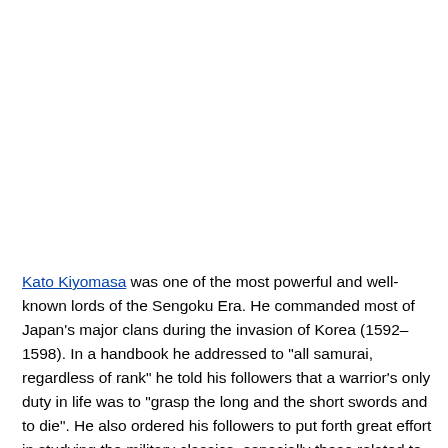Kato Kiyomasa was one of the most powerful and well-known lords of the Sengoku Era. He commanded most of Japan's major clans during the invasion of Korea (1592–1598). In a handbook he addressed to "all samurai, regardless of rank" he told his followers that a warrior's only duty in life was to "grasp the long and the short swords and to die". He also ordered his followers to put forth great effort in studying the military classics, especially those related to loyalty and filial piety. He is best known for his quote:[13] "If a man does not investigate into the matter of Bushido daily, it will be